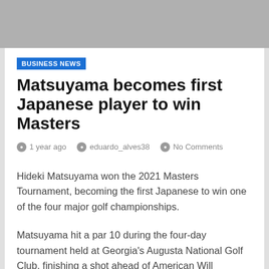[Figure (other): Gray banner/advertisement area at top of page]
BUSINESS NEWS
Matsuyama becomes first Japanese player to win Masters
1 year ago   eduardo_alves38   No Comments
Hideki Matsuyama won the 2021 Masters Tournament, becoming the first Japanese to win one of the four major golf championships.
Matsuyama hit a par 10 during the four-day tournament held at Georgia's Augusta National Golf Club, finishing a shot ahead of American Will Zalatoris.
A few minutes later Matsuyama reached 25th in the world